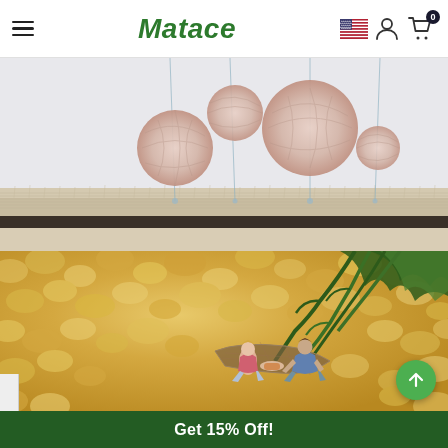Matace — navigation bar with hamburger menu, logo, US flag, account icon, cart (0)
[Figure (photo): Close-up cross-section of a cream/beige carpet showing its pile and backing, with four yarn balls of varying sizes suspended by thin strings from above, styled product photography on white background.]
[Figure (photo): Macro photo of a warm golden/yellow fluffy carpet with three miniature figurines (two adults and one child) sitting on a tiny picnic blanket, with green plant foliage visible in the upper right corner.]
Get 15% Off!